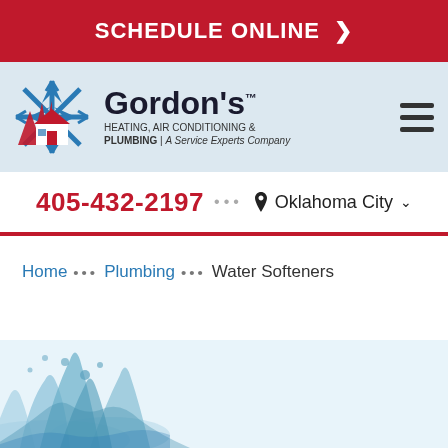SCHEDULE ONLINE >
[Figure (logo): Gordon's Heating, Air Conditioning & Plumbing | A Service Experts Company logo with red flame and blue snowflake over house icon]
405-432-2197 ••• Oklahoma City
Home ••• Plumbing ••• Water Softeners
[Figure (photo): Water splash image at the bottom of the page]